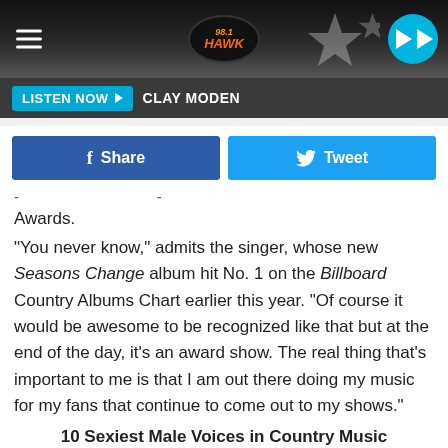98.1 The Hawk | LISTEN NOW | CLAY MODEN
[Figure (screenshot): Social share buttons: Facebook Share and Twitter Tweet]
- -
Awards.
"You never know," admits the singer, whose new Seasons Change album hit No. 1 on the Billboard Country Albums Chart earlier this year. "Of course it would be awesome to be recognized like that but at the end of the day, it's an award show. The real thing that's important to me is that I am out there doing my music for my fans that continue to come out to my shows."
10 Sexiest Male Voices in Country Music